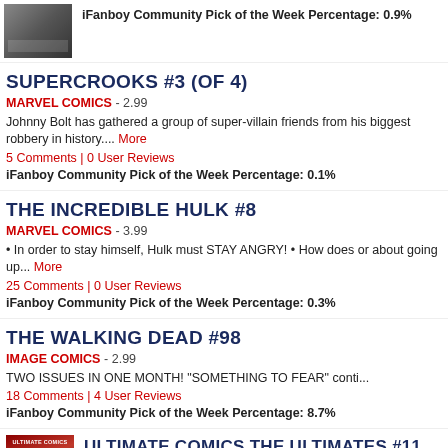[Figure (illustration): Comic book cover thumbnail, dark/grayscale image]
iFanboy Community Pick of the Week Percentage: 0.9%
SUPERCROOKS #3 (OF 4)
MARVEL COMICS - 2.99
Johnny Bolt has gathered a group of super-villain friends from his biggest robbery in history.... More
5 Comments | 0 User Reviews
iFanboy Community Pick of the Week Percentage: 0.1%
THE INCREDIBLE HULK #8
MARVEL COMICS - 3.99
• In order to stay himself, Hulk must STAY ANGRY! • How does or about going up... More
25 Comments | 0 User Reviews
iFanboy Community Pick of the Week Percentage: 0.3%
THE WALKING DEAD #98
IMAGE COMICS - 2.99
TWO ISSUES IN ONE MONTH! "SOMETHING TO FEAR" contin...
18 Comments | 4 User Reviews
iFanboy Community Pick of the Week Percentage: 8.7%
[Figure (illustration): Ultimate Comics The Ultimates comic book cover thumbnail, red and dark]
ULTIMATE COMICS THE ULTIMATES #11
MARVEL COMICS - 3.99